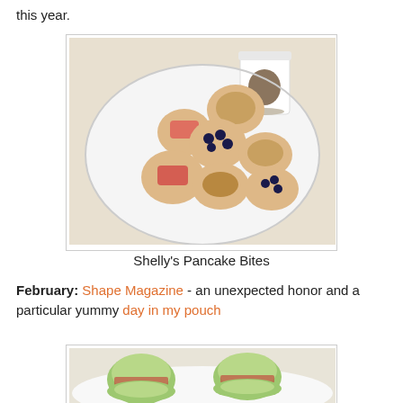this year.
[Figure (photo): A white plate with assorted mini pancake bites topped with blueberries, strawberries, and walnuts, alongside a small white pitcher of syrup.]
Shelly's Pancake Bites
February: Shape Magazine - an unexpected honor and a particular yummy day in my pouch
[Figure (photo): Two cucumber sandwiches with sliced meats visible between round cucumber slices arranged on a white plate.]